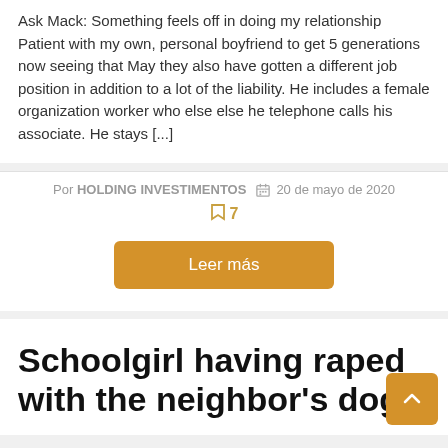Ask Mack: Something feels off in doing my relationship Patient with my own, personal boyfriend to get 5 generations now seeing that May they also have gotten a different job position in addition to a lot of the liability. He includes a female organization worker who else else he telephone calls his associate. He stays [...]
Por HOLDING INVESTIMENTOS   20 de mayo de 2020   7
Leer más
Schoolgirl having raped with the neighbor's dogs